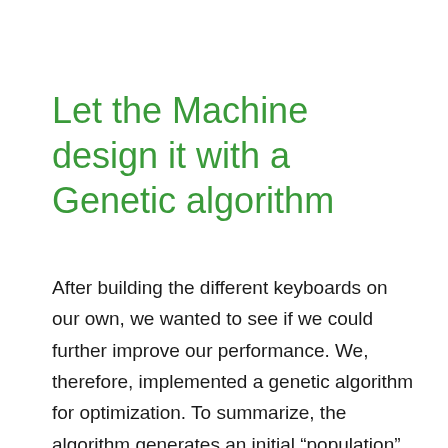Let the Machine design it with a Genetic algorithm
After building the different keyboards on our own, we wanted to see if we could further improve our performance. We, therefore, implemented a genetic algorithm for optimization. To summarize, the algorithm generates an initial “population” of 500 random keyboard sequences. Then, using probabilistic methods favoring keyboard sequences with lower scores, selected items are used to